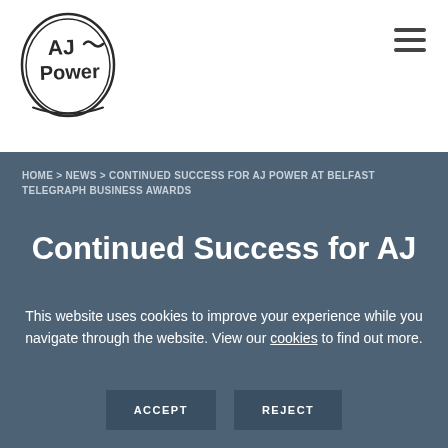[Figure (logo): AJ Power circular logo with hand-drawn oval border, text 'AJ~' on top line and 'Power' on bottom line in stylized font]
HOME > NEWS > CONTINUED SUCCESS FOR AJ POWER AT BELFAST TELEGRAPH BUSINESS AWARDS
Continued Success for AJ
This website uses cookies to improve your experience while you navigate through the website. View our cookies to find out more.
ACCEPT
REJECT